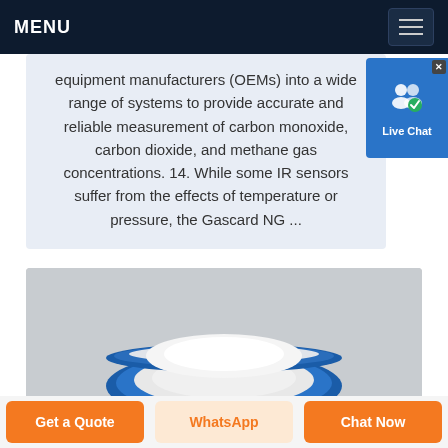MENU
equipment manufacturers (OEMs) into a wide range of systems to provide accurate and reliable measurement of carbon monoxide, carbon dioxide, and methane gas concentrations. 14. While some IR sensors suffer from the effects of temperature or pressure, the Gascard NG ...
[Figure (photo): Product photo of a circular gas sensor device (Gascard NG) with blue and white coloring, shown from above at a slight angle, against a grey background.]
Get a Quote
WhatsApp
Chat Now